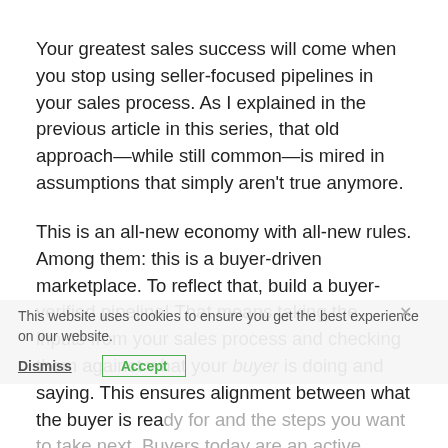Your greatest sales success will come when you stop using seller-focused pipelines in your sales process. As I explained in the previous article in this series, that old approach—while still common—is mired in assumptions that simply aren't true anymore.
This is an all-new economy with all-new rules. Among them: this is a buyer-driven marketplace. To reflect that, build a buyer-verified pipeline! That means taking the inputs from your sales process and checking them against what your buyer is doing and saying. This ensures alignment between what the buyer is ready for and the steps you want to take next. Buyers today are an active, deeply informed partner in your sales process…and they know it. Leaving them out or minimizing their partnership will push them away and encourage them to buy from someone who is more
This website uses cookies to ensure you get the best experience on our website.
Dismiss  Accept